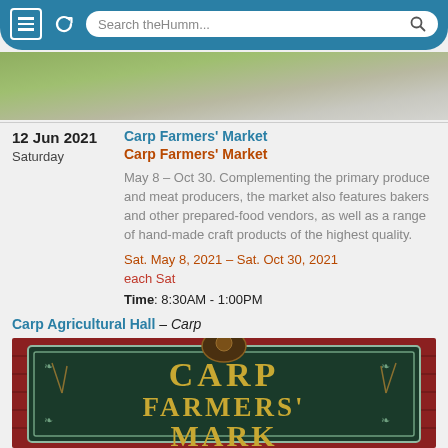[Figure (screenshot): Mobile browser navigation bar with hamburger menu, refresh button, and search field showing 'Search theHumm...']
[Figure (photo): Partial outdoor landscape photo strip at top of page]
12 Jun 2021
Saturday
Carp Farmers' Market
Carp Farmers' Market
May 8 – Oct 30. Complementing the primary produce and meat producers, the market also features bakers and other prepared-food vendors, as well as a range of hand-made craft products of the highest quality.
Sat. May 8, 2021 – Sat. Oct 30, 2021
each Sat
Time: 8:30AM - 1:00PM
Carp Agricultural Hall - Carp
[Figure (photo): Photo of a dark green wooden sign reading 'CARP FARMERS' MARKET' with decorative emblems, mounted on a red wooden wall]